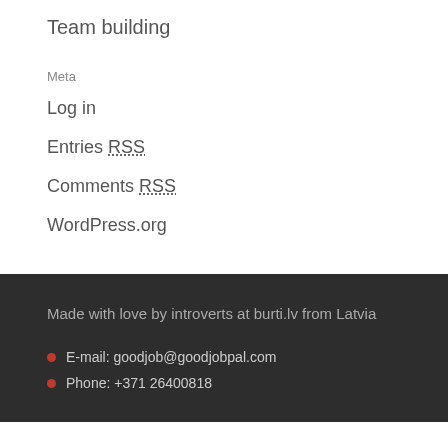Team building
Meta
Log in
Entries RSS
Comments RSS
WordPress.org
Made with love by introverts at burti.lv from Latvia
E-mail: goodjob@goodjobpal.com
Phone: +371 26400818